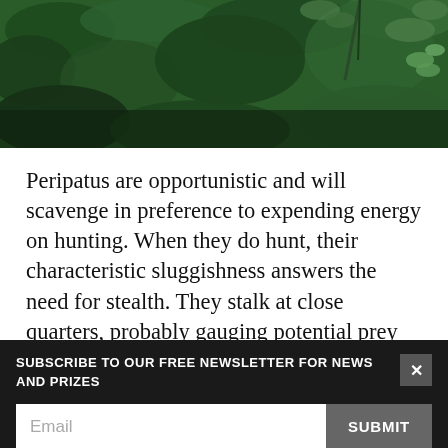[Figure (photo): Green foliage and plants photographed from below against dark background, possibly a nature/garden scene.]
Peripatus are opportunistic and will scavenge in preference to expending energy on hunting. When they do hunt, their characteristic sluggishness answers the need for stealth. They stalk at close quarters, probably gauging potential prey by smell and by sensing vibrations through the ground.
SUBSCRIBE TO OUR FREE NEWSLETTER FOR NEWS AND PRIZES
Email
SUBMIT
3  FREE ARTICLES LEFT
Subscribe for $1  |  Sign in